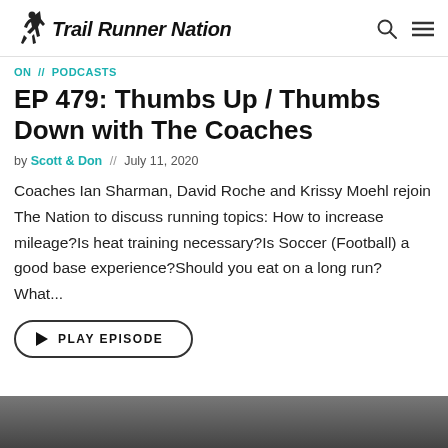Trail Runner Nation
ON // PODCASTS
EP 479: Thumbs Up / Thumbs Down with The Coaches
by Scott & Don // July 11, 2020
Coaches Ian Sharman, David Roche and Krissy Moehl rejoin The Nation to discuss running topics: How to increase mileage?Is heat training necessary?Is Soccer (Football) a good base experience?Should you eat on a long run? What...
PLAY EPISODE
[Figure (photo): Partial photo strip at bottom of page showing people, likely the coaches]